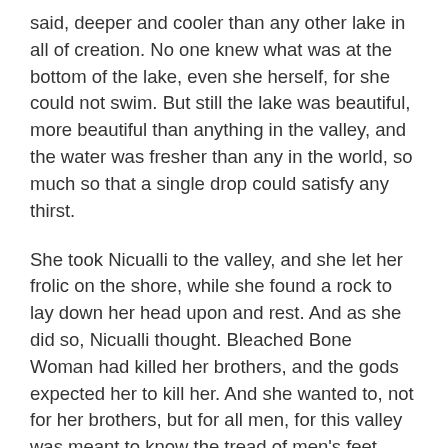said, deeper and cooler than any other lake in all of creation. No one knew what was at the bottom of the lake, even she herself, for she could not swim. But still the lake was beautiful, more beautiful than anything in the valley, and the water was fresher than any in the world, so much so that a single drop could satisfy any thirst.
She took Nicualli to the valley, and she let her frolic on the shore, while she found a rock to lay down her head upon and rest. And as she did so, Nicualli thought. Bleached Bone Woman had killed her brothers, and the gods expected her to kill her. And she wanted to, not for her brothers, but for all men, for this valley was meant to know the tread of men's feet. And, more than even this selfless desire, she wanted this valley for herself, for she had known the pain of loss. She did not want to lose this most precious of places, no matter what action she had to take. So she hardened her heart, and so she resolved herself for what she must do, and she pushed Bleached Bone Woman into the lake.
As the water touched her bones, she screamed, cursing at Nicualli for her treachery. But even as her bones sank, she